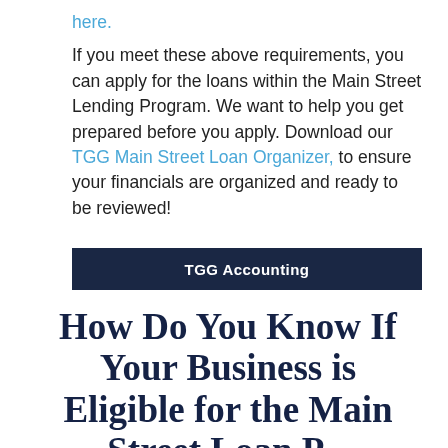here. If you meet these above requirements, you can apply for the loans within the Main Street Lending Program. We want to help you get prepared before you apply. Download our TGG Main Street Loan Organizer, to ensure your financials are organized and ready to be reviewed!
TGG Accounting
How Do You Know If Your Business is Eligible for the Main Street Loan P...